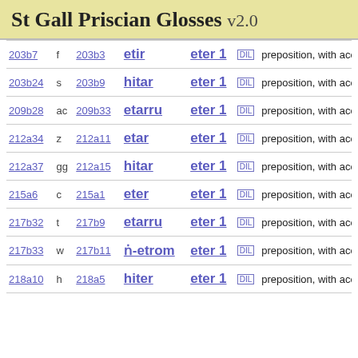St Gall Priscian Glosses v2.0
| ref1 | abbr | ref2 | gloss | headword | DIL | type |
| --- | --- | --- | --- | --- | --- | --- |
| 203b7 | f | 203b3 | etir | eter 1 | [DIL] | preposition, with acc |
| 203b24 | s | 203b9 | hitar | eter 1 | [DIL] | preposition, with acc |
| 209b28 | ac | 209b33 | etarru | eter 1 | [DIL] | preposition, with acc |
| 212a34 | z | 212a11 | etar | eter 1 | [DIL] | preposition, with acc |
| 212a37 | gg | 212a15 | hitar | eter 1 | [DIL] | preposition, with acc |
| 215a6 | c | 215a1 | eter | eter 1 | [DIL] | preposition, with acc |
| 217b32 | t | 217b9 | etarru | eter 1 | [DIL] | preposition, with acc |
| 217b33 | w | 217b11 | ṅ-etrom | eter 1 | [DIL] | preposition, with acc |
| 218a10 | h | 218a5 | hiter | eter 1 | [DIL] | preposition, with acc |